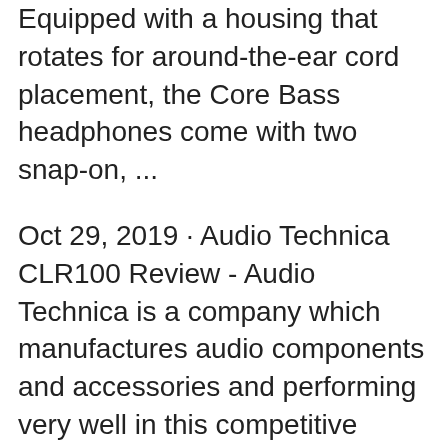Equipped with a housing that rotates for around-the-ear cord placement, the Core Bass headphones come with two snap-on, ...
Oct 29, 2019 · Audio Technica CLR100 Review - Audio Technica is a company which manufactures audio components and accessories and performing very well in this competitive market, especially in Earphones and headphones category. This company is popular because it manufactures and provides some great value for money devices. In those products, here, we have one product named "Audio ... May 07, 2017 · Audio-Technica ATH-LS50iS Review – Build When it comes to build, I